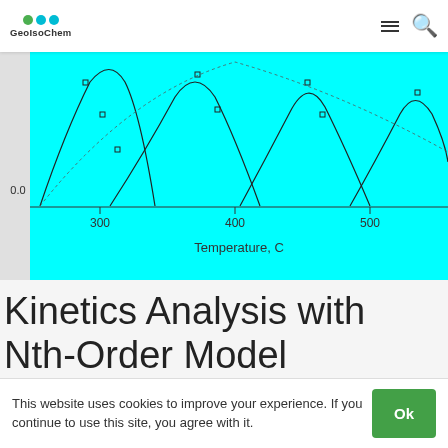GeoIsoChem
[Figure (continuous-plot): Partial view of a kinetics chart showing multiple reaction rate curves on a cyan background, with x-axis labeled 'Temperature, C' showing values 300, 400, 500, and y-axis showing 0.0. Multiple overlapping bell-curve shaped peaks are visible.]
Kinetics Analysis with Nth-Order Model
An improvement over the single 1st-order reaction
This website uses cookies to improve your experience. If you continue to use this site, you agree with it.